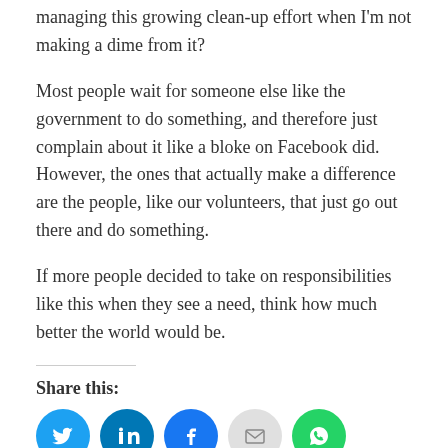managing this growing clean-up effort when I'm not making a dime from it?
Most people wait for someone else like the government to do something, and therefore just complain about it like a bloke on Facebook did. However, the ones that actually make a difference are the people, like our volunteers, that just go out there and do something.
If more people decided to take on responsibilities like this when they see a need, think how much better the world would be.
Share this:
[Figure (infographic): Row of five social share icon buttons: Twitter (blue), LinkedIn (blue), Facebook (blue), Email (gray), WhatsApp (green)]
Like this:
Loading...